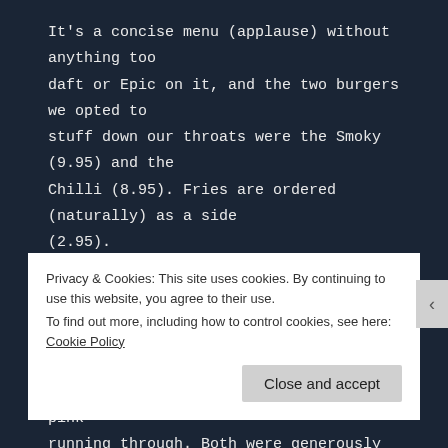It's a concise menu (applause) without anything too daft or Epic on it, and the two burgers we opted to stuff down our throats were the Smoky (9.95) and the Chilli (8.95). Fries are ordered (naturally) as a side (2.95).
There was a potent whiff of char coming from the bustling kitchen and when it landed the meat, seemingly rested, had a healthy layer of pink running through. Both were generously seasoned and tender. The chipotle mayo in the Chilli had a good throaty kick, and the crispy onions in the
Privacy & Cookies: This site uses cookies. By continuing to use this website, you agree to their use.
To find out more, including how to control cookies, see here: Cookie Policy
Close and accept